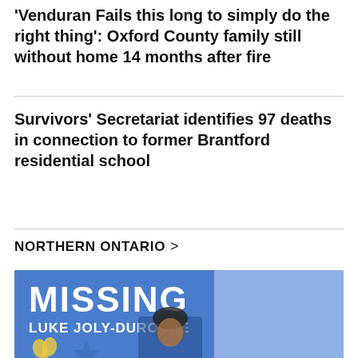'Venduran Fails this long to simply do the right thing': Oxford County family still without home 14 months after fire
Survivors' Secretariat identifies 97 deaths in connection to former Brantford residential school
NORTHERN ONTARIO >
[Figure (photo): A blue missing person poster featuring the name 'LUKE JOLY-DUROCHER' with a ribbon and photo of a young person with dark hair.]